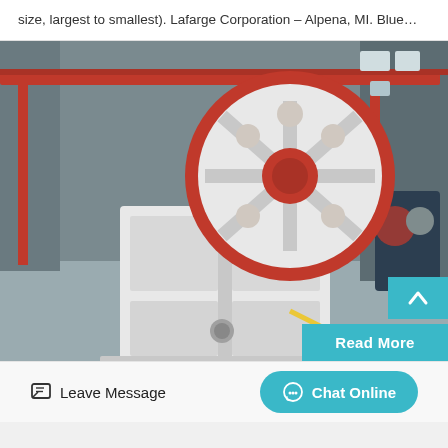size, largest to smallest). Lafarge Corporation – Alpena, MI. Blue…
[Figure (photo): Industrial jaw crusher machine with a large red flywheel on top, white body, photographed in a factory setting with red overhead cranes visible in the background.]
Read More
Leave Message
Chat Online